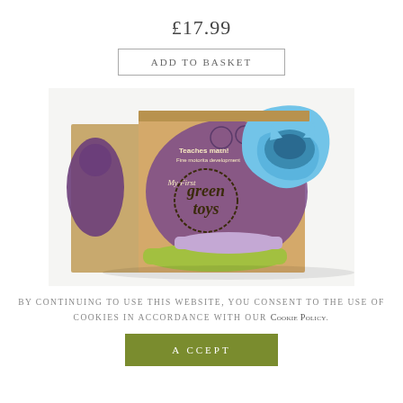£17.99
Add to Basket
[Figure (photo): Green Toys stacking cups product in cardboard box packaging. Box shows 'My First Green Toys' branding with purple design. A blue star-shaped stacking cup is visible on top, with green and lilac cups below.]
By continuing to use this website, you consent to the use of cookies in accordance with our Cookie Policy.
Accept